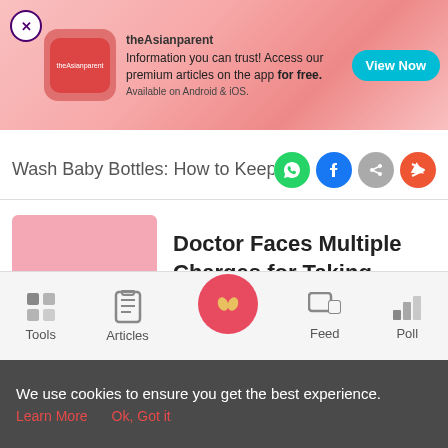[Figure (screenshot): theAsianparent app advertisement banner with pink gradient background, logo image, text and 'View Now' button]
Wash Baby Bottles: How to Keep You
[Figure (illustration): Pink placeholder image for related article]
Doctor Faces Multiple Charges for Taking Advantage of Sedated Patients
[Figure (screenshot): Bottom navigation bar with Tools, Articles, center baby feet icon, Feed, and Poll]
We use cookies to ensure you get the best experience.
Learn More    Ok, Got it